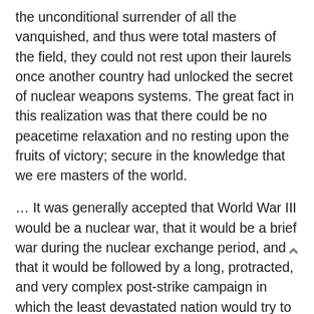the unconditional surrender of all the vanquished, and thus were total masters of the field, they could not rest upon their laurels once another country had unlocked the secret of nuclear weapons systems. The great fact in this realization was that there could be no peacetime relaxation and no resting upon the fruits of victory; secure in the knowledge that we ere masters of the world.
… It was generally accepted that World War III would be a nuclear war, that it would be a brief war during the nuclear exchange period, and that it would be followed by a long, protracted, and very complex post-strike campaign in which the least devastated nation would try to mount forces sufficient to occupy the territory of most of the damaged nation and to bring about some order in what would most certainly be a totally devastated